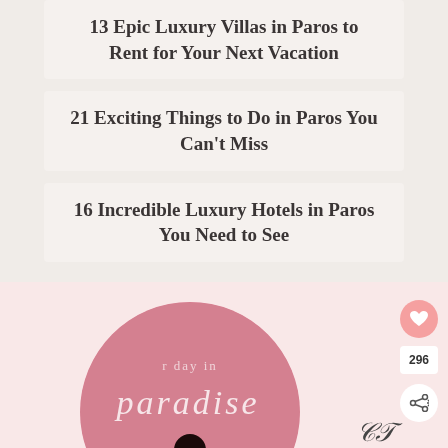13 Epic Luxury Villas in Paros to Rent for Your Next Vacation
21 Exciting Things to Do in Paros You Can't Miss
16 Incredible Luxury Hotels in Paros You Need to See
[Figure (illustration): Pink circular graphic with cursive text 'day in paradise' and a person silhouette, alongside decorative script and social interaction buttons (heart icon, count 296, share icon)]